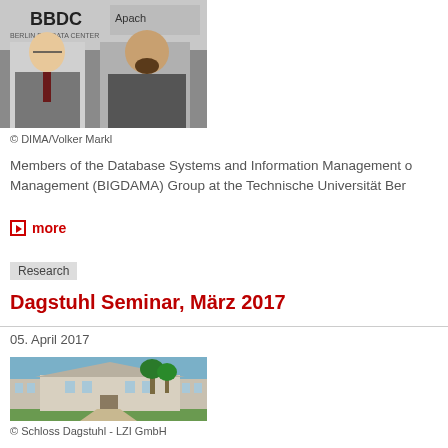[Figure (photo): Two men standing in front of a BBDC (Berlin Big Data Center) and Apache conference banner]
© DIMA/Volker Markl
Members of the Database Systems and Information Management o Management (BIGDAMA) Group at the Technische Universität Ber
more
Research
Dagstuhl Seminar, März 2017
05. April 2017
[Figure (photo): Photo of Schloss Dagstuhl estate with garden and mansion building]
© Schloss Dagstuhl - LZI GmbH
Sebastian Breß lead the breakout session at Dagstuhl Seminar "D 2017.